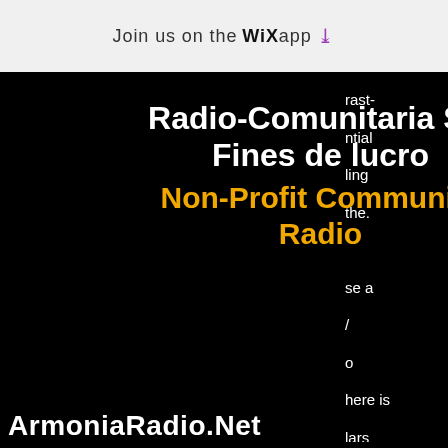Join us on the WiX app ↓
Radio-Comunitaria Sin Fines de lucro
Non-Profit Community Radio
rast-
ntial
ling
the.

se a
/
o
here is
lars
:)
p a
no. The
s see
re to
e reels
and
eaning
jckpot
games
ArmoniaRadio.Net